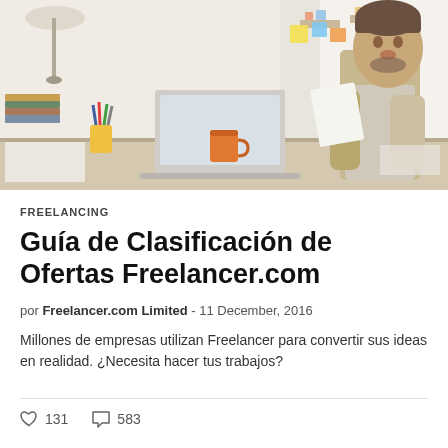[Figure (photo): Man sitting at a desk in a bright office, reviewing papers in front of a laptop, with stationery, books, and colorful items on the desk. Bright, natural lighting.]
FREELANCING
Guía de Clasificación de Ofertas Freelancer.com
por Freelancer.com Limited - 11 December, 2016
Millones de empresas utilizan Freelancer para convertir sus ideas en realidad. ¿Necesita hacer tus trabajos?
♡ 131   ○ 583